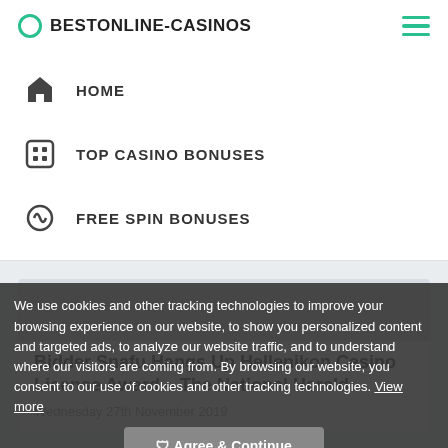BESTONLINE-CASINOS
HOME
TOP CASINO BONUSES
FREE SPIN BONUSES
Bidder Snafu Hangs Up Hellenikon Casino License Award – The National Herald
Wednesday 27th November 2019
We use cookies and other tracking technologies to improve your browsing experience on our website, to show you personalized content and targeted ads, to analyze our website traffic, and to understand where our visitors are coming from. By browsing our website, you consent to our use of cookies and other tracking technologies. View more
🛡 Agree & Continue